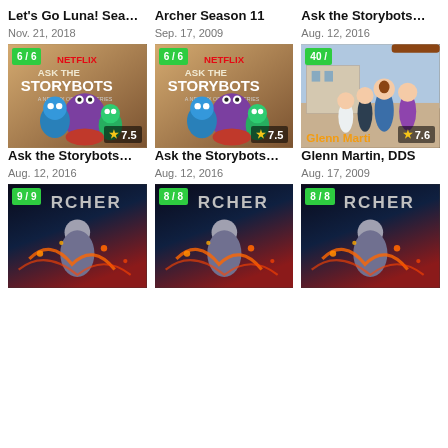Let's Go Luna! Sea…
Nov. 21, 2018
Archer Season 11
Sep. 17, 2009
Ask the Storybots…
Aug. 12, 2016
[Figure (screenshot): Ask the Storybots Netflix show thumbnail with badge 6/6 and rating 7.5]
[Figure (screenshot): Ask the Storybots Netflix show thumbnail with badge 6/6 and rating 7.5]
[Figure (screenshot): Glenn Martin DDS show thumbnail with badge 40/ and rating 7.6]
Ask the Storybots…
Aug. 12, 2016
Ask the Storybots…
Aug. 12, 2016
Glenn Martin, DDS
Aug. 17, 2009
[Figure (screenshot): Archer Season poster with badge 9/9 and dark action art]
[Figure (screenshot): Archer Season poster with badge 8/8 and dark action art]
[Figure (screenshot): Archer Season poster with badge 8/8 and dark action art]